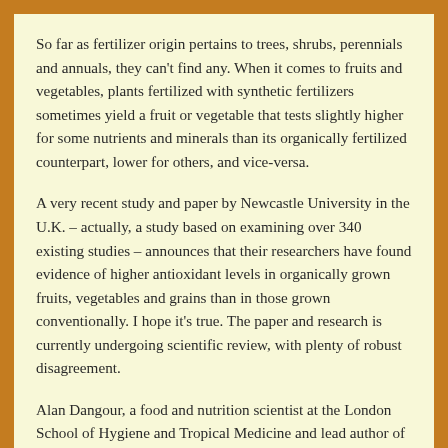So far as fertilizer origin pertains to trees, shrubs, perennials and annuals, they can't find any. When it comes to fruits and vegetables, plants fertilized with synthetic fertilizers sometimes yield a fruit or vegetable that tests slightly higher for some nutrients and minerals than its organically fertilized counterpart, lower for others, and vice-versa.
A very recent study and paper by Newcastle University in the U.K. – actually, a study based on examining over 340 existing studies – announces that their researchers have found evidence of higher antioxidant levels in organically grown fruits, vegetables and grains than in those grown conventionally. I hope it's true. The paper and research is currently undergoing scientific review, with plenty of robust disagreement.
Alan Dangour, a food and nutrition scientist at the London School of Hygiene and Tropical Medicine and lead author of the U.K. Foods Standards Agency review, he stated that the Newcastle study offers some…